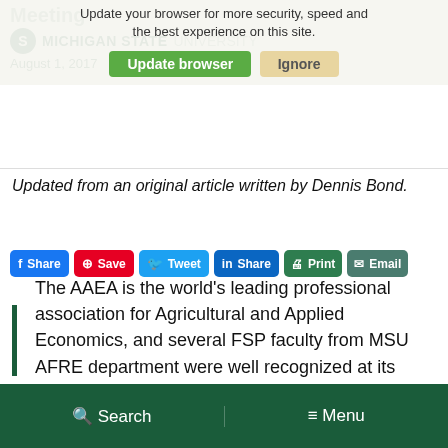Michigan State University — August 1, 2017
Update your browser for more security, speed and the best experience on this site.
Updated from an original article written by Dennis Bond.
[Figure (screenshot): Social sharing buttons: Facebook Share, Pinterest Save, Twitter Tweet, LinkedIn Share, Print, Email]
The AAEA is the world's leading professional association for Agricultural and Applied Economics, and several FSP faculty from MSU AFRE department were well recognized at its 2017 Annual Meeting.
Search  Menu